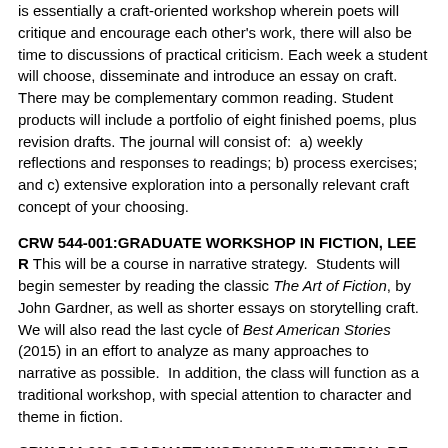is essentially a craft-oriented workshop wherein poets will critique and encourage each other's work, there will also be time to discussions of practical criticism. Each week a student will choose, disseminate and introduce an essay on craft.  There may be complementary common reading. Student products will include a portfolio of eight finished poems, plus revision drafts. The journal will consist of:  a) weekly reflections and responses to readings; b) process exercises; and c) extensive exploration into a personally relevant craft concept of your choosing.
CRW 544-001:GRADUATE WORKSHOP IN FICTION, LEE R This will be a course in narrative strategy.  Students will begin semester by reading the classic The Art of Fiction, by John Gardner, as well as shorter essays on storytelling craft.  We will also read the last cycle of Best American Stories (2015) in an effort to analyze as many approaches to narrative as possible.  In addition, the class will function as a traditional workshop, with special attention to character and theme in fiction.
CRW 544-002:GRADUATE WORKSHOP IN FICTION, DE GRAMONT M In this class, students will work on craft through close reading of each other's fiction in a workshop format. Students will write two new and original pieces for workshop and revise one of them prior to potentially. Reading assignments will be drawn...